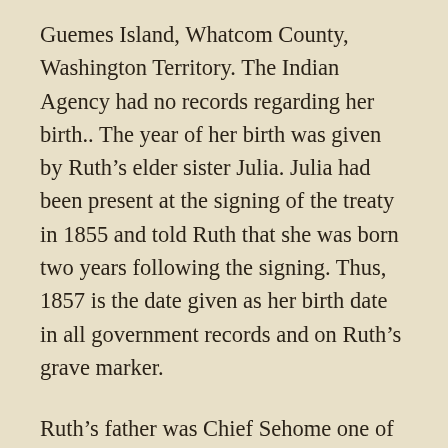Guemes Island, Whatcom County, Washington Territory. The Indian Agency had no records regarding her birth.. The year of her birth was given by Ruth's elder sister Julia. Julia had been present at the signing of the treaty in 1855 and told Ruth that she was born two years following the signing. Thus, 1857 is the date given as her birth date in all government records and on Ruth's grave marker.
Ruth's father was Chief Sehome one of the chiefs of the Clallam Tribe in the Port Angeles area. Her mother Emily Sehome was a member of the Samish tribe, owners of all of Samish, Guemes and Orcas Islands. Both parents were full-blood Indians. In the early days, a portion